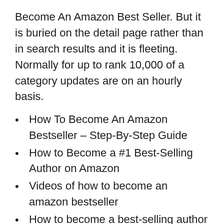Become An Amazon Best Seller. But it is buried on the detail page rather than in search results and it is fleeting. Normally for up to rank 10,000 of a category updates are on an hourly basis.
How To Become An Amazon Bestseller – Step-By-Step Guide
How to Become a #1 Best-Selling Author on Amazon
Videos of how to become an amazon bestseller
How to become a best-selling author on Amazon in five
5 Steps to an Amazon Bestseller – melanieduncan com
How To Become An Amazon Bestseller by Author Simone Elise